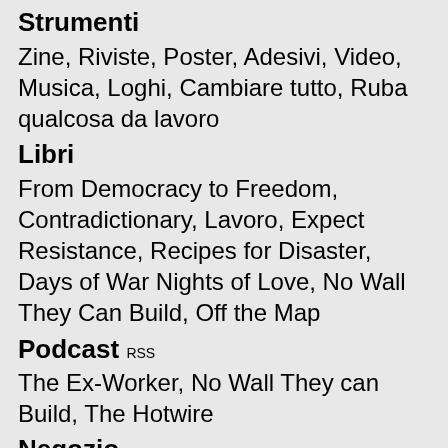Strumenti
Zine, Riviste, Poster, Adesivi, Video, Musica, Loghi, Cambiare tutto, Ruba qualcosa da lavoro
Libri
From Democracy to Freedom, Contradictionary, Lavoro, Expect Resistance, Recipes for Disaster, Days of War Nights of Love, No Wall They Can Build, Off the Map
Podcast RSS
The Ex-Worker, No Wall They can Build, The Hotwire
Negozio
Libri, poster, adesivi e altro
Lingue
English, Español, Italiano, Deutsch...